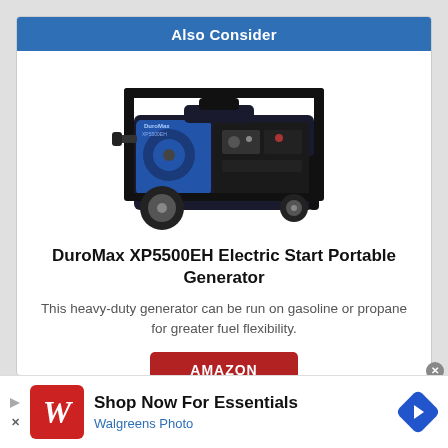Also Consider
[Figure (photo): DuroMax XP5500EH portable generator, blue and black, with wheels and a frame handle, shown at a slight angle.]
DuroMax XP5500EH Electric Start Portable Generator
This heavy-duty generator can be run on gasoline or propane for greater fuel flexibility.
AMAZON
[Figure (logo): Walgreens red logo with stylized W on red square background]
Shop Now For Essentials
Walgreens Photo